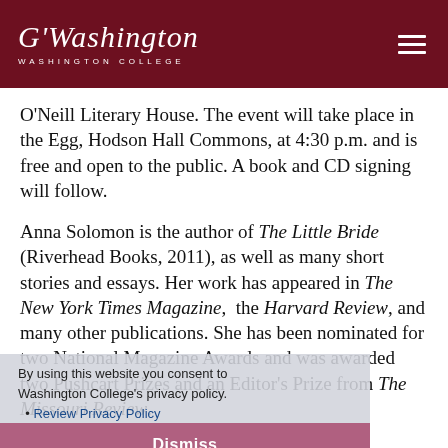Washington College
O'Neill Literary House. The event will take place in the Egg, Hodson Hall Commons, at 4:30 p.m. and is free and open to the public. A book and CD signing will follow.
Anna Solomon is the author of The Little Bride (Riverhead Books, 2011), as well as many short stories and essays. Her work has appeared in The New York Times Magazine, the Harvard Review, and many other publications. She has been nominated for two National Magazine Awards and was awarded two Pushcart Prizes and an Editor's Prize from The Missouri Review.
By using this website you consent to Washington College's privacy policy. Review Privacy Policy
Dismiss
A former journalist for National Public Radio, she